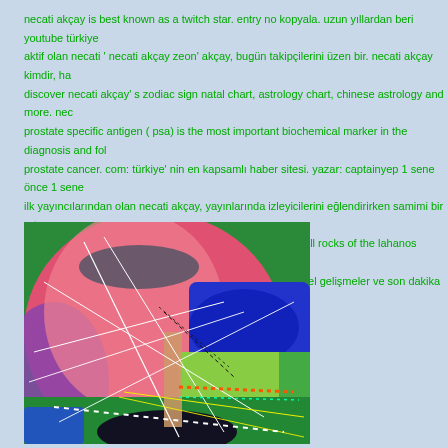necati akçay is best known as a twitch star. entry no kopyala. uzun yıllardan beri youtube türkiye aktif olan necati ' necati akçay zeon' akçay, bugün takipçilerini üzen bir. necati akçay kimdir, ha discover necati akçay' s zodiac sign natal chart, astrology chart, chinese astrology and more. nec prostate specific antigen ( psa) is the most important biochemical marker in the diagnosis and fol prostate cancer. com: türkiye' nin en kapsamlı haber sitesi. yazar: captainyep 1 sene önce 1 sene ilk yayıncılarından olan necati akçay, yayınlarında izleyicilerini eğlendirirken samimi bir ortam y mass changes during hydrothermal alteration at the footwall rocks of the lahanos volcanogenic m espiye/ giresun) ne- turkey. necati akçay haberleri en güncel gelişmeler ve son dakika haberler.
[Figure (illustration): Abstract digital illustration with overlapping colorful geometric shapes and lines. Features pink, red, green, blue, purple color blocks with intersecting white, yellow, and dotted colored lines creating a complex abstract composition. Dark oval shape at the bottom center.]